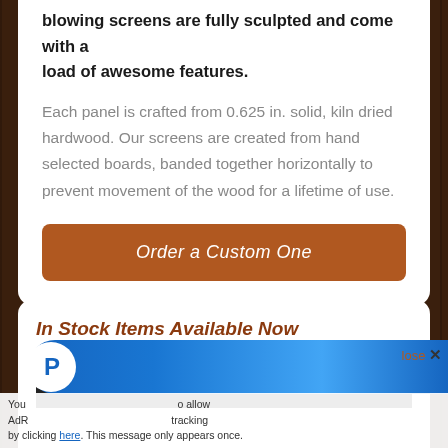blowing screens are fully sculpted and come with a load of awesome features.
Each panel is crafted from 0.625 in. solid, kiln dried hardwood. Our screens are created from hand selected boards, banded together horizontally to prevent movement of the wood for a lifetime of use.
Order a Custom One
In Stock Items Available Now
You  o allow AdR  tracking by clicking here. This message only appears once.
lose ✕